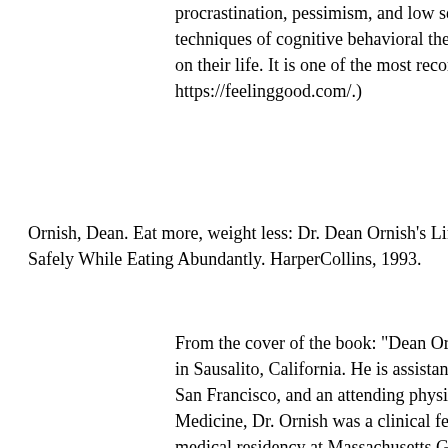procrastination, pessimism, and low self-esteem. The techniques of cognitive behavioral therapy. The tech on their life. It is one of the most recommended boo https://feelinggood.com/.)
Ornish, Dean. Eat more, weight less: Dr. Dean Ornish's Life Safely While Eating Abundantly. HarperCollins, 1993.
From the cover of the book: "Dean Ornish, M.D., is in Sausalito, California. He is assistant clinical profe San Francisco, and an attending physician at the Cal Medicine, Dr. Ornish was a clinical fellow in medici medical residency at Massachusetts General Hospita including The Lancet, the Journal of the American M hour documentary on his work was broadcast on 'No
Dean Ornish's landmark book was a breakthrough in fat. In addition, the book deals with stress reduction, however, that the diet to a healthy eating active life